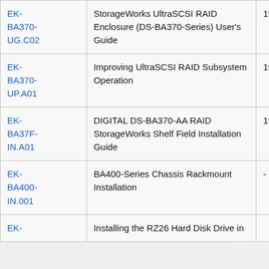| Order Number | Title | Date |
| --- | --- | --- |
| EK-BA370-UG.C02 | StorageWorks UltraSCSI RAID Enclosure (DS-BA370-Series) User's Guide | 1998 September |
| EK-BA370-UP.A01 | Improving UltraSCSI RAID Subsystem Operation | 1997 August |
| EK-BA37F-IN.A01 | DIGITAL DS-BA370-AA RAID StorageWorks Shelf Field Installation Guide | 1998 November |
| EK-BA400-IN.001 | BA400-Series Chassis Rackmount Installation | - |
| EK-... | Installing the RZ26 Hard Disk Drive in ... |  |